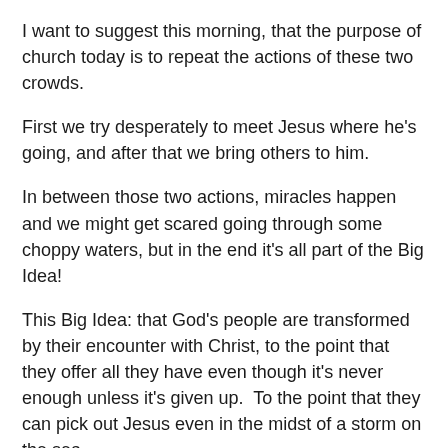I want to suggest this morning, that the purpose of church today is to repeat the actions of these two crowds.
First we try desperately to meet Jesus where he's going, and after that we bring others to him.
In between those two actions, miracles happen and we might get scared going through some choppy waters, but in the end it's all part of the Big Idea!
This Big Idea: that God's people are transformed by their encounter with Christ, to the point that they offer all they have even though it's never enough unless it's given up. To the point that they can pick out Jesus even in the midst of a storm on the sea.
God's people are transformed by Christ, and as a result they go throughout all the region, spreading the good